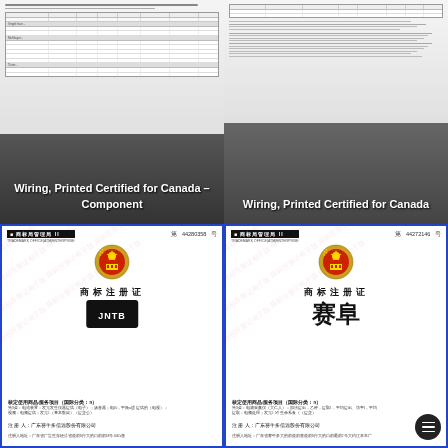[Figure (screenshot): Document page showing wiring table for Printed Certified for Canada - Component. Table with technical specifications and rows of data visible. Bottom overlaid with dark gradient and white text label.]
Wiring, Printed Certified for Canada – Component
[Figure (screenshot): Document page showing wiring table for Printed Certified for Canada with technical data table, footnotes, and text. Bottom overlaid with dark gradient and white text label.]
Wiring, Printed Certified for Canada
[Figure (other): Chinese trademark registration certificate (商标注册证) with national emblem, certificate number 44280358, showing JNTB trademark logo in black rectangle, with registration details and registrant information for a Guangdong company. Blue border frame with diagonal watermark text.]
[Figure (other): Chinese trademark registration certificate (商标注册证) with national emblem, certificate number 44272146, showing 赛阜 (Sai Fu) trademark in large Chinese characters, with registration details and registrant information for a Guangdong company. Blue border frame with diagonal watermark text. Floating action button (hamburger menu) visible in bottom right corner.]